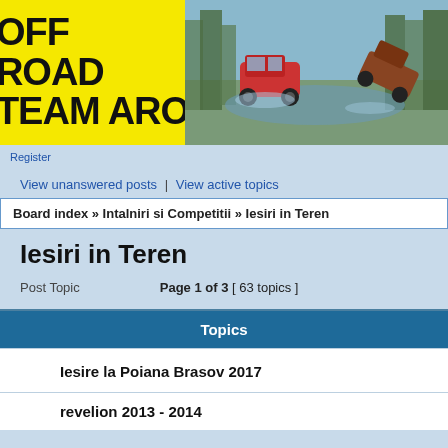[Figure (photo): Offroad Team ARO website header banner with yellow logo box on left and off-road vehicles photo on right]
Register
View unanswered posts | View active topics
Board index » Intalniri si Competitii » Iesiri in Teren
Iesiri in Teren
Post Topic
Page 1 of 3 [ 63 topics ]
Topics
Iesire la Poiana Brasov 2017
revelion 2013 - 2014